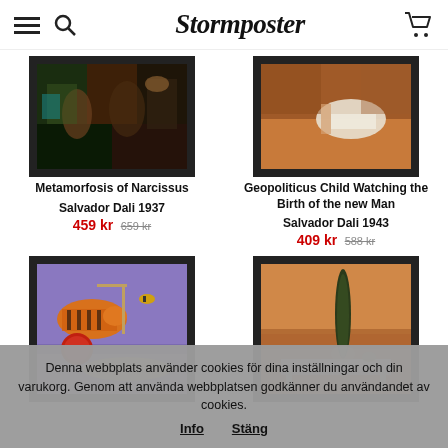Stormposter
[Figure (illustration): Framed art poster of Metamorfosis of Narcissus by Salvador Dali, 1937]
Metamorfosis of Narcissus
Salvador Dali 1937
459 kr 659 kr
[Figure (illustration): Framed art poster of Geopoliticus Child Watching the Birth of the new Man by Salvador Dali, 1943]
Geopoliticus Child Watching the Birth of the new Man
Salvador Dali 1943
409 kr 588 kr
[Figure (illustration): Framed art poster showing surrealist dream scene with tigers and flying bee, Salvador Dali]
[Figure (illustration): Framed art poster showing a solitary cypress tree in a desert landscape, Salvador Dali]
Denna webbplats använder cookies för dina inställningar och din varukorg. Genom att använda webbplatsen godkänner du användandet av cookies. Info Stäng